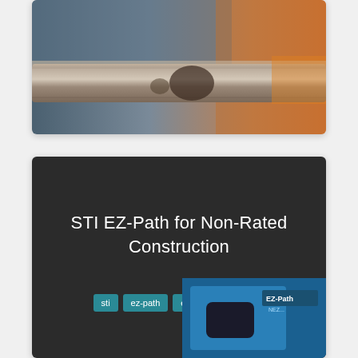[Figure (photo): Close-up photo of a pipe or conduit passing through a wall or floor, showing insulation or firestopping material, with warm orange fire glow visible on the right side.]
STI EZ-Path for Non-Rated Construction
sti  ez-path  ezpath  firestop
[Figure (photo): Partial view of a blue STI EZ-Path product device with 'EZ-Path' text visible, shown in the lower right of the dark card.]